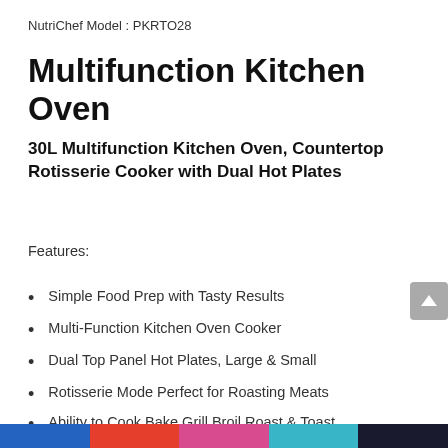NutriChef Model : PKRTO28
Multifunction Kitchen Oven
30L Multifunction Kitchen Oven, Countertop Rotisserie Cooker with Dual Hot Plates
Features:
Simple Food Prep with Tasty Results
Multi-Function Kitchen Oven Cooker
Dual Top Panel Hot Plates, Large & Small
Rotisserie Mode Perfect for Roasting Meats
Ability to Cook Bake Grill Broil Roast & Toast